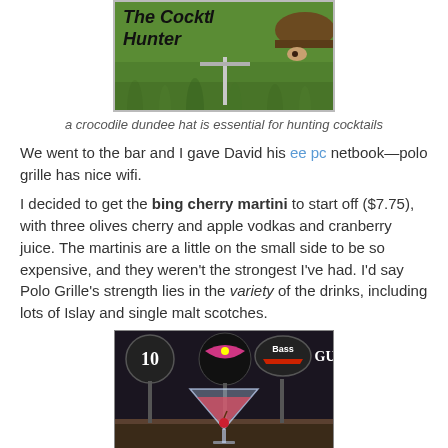[Figure (photo): Blog header image showing green grass background with text 'The Cocktail Hunter' in bold italic font, and a person wearing a crocodile dundee hat peeking from the right side.]
a crocodile dundee hat is essential for hunting cocktails
We went to the bar and I gave David his ee pc netbook—polo grille has nice wifi.
I decided to get the bing cherry martini to start off ($7.75), with three olives cherry and apple vodkas and cranberry juice. The martinis are a little on the small side to be so expensive, and they weren't the strongest I've had. I'd say Polo Grille's strength lies in the variety of the drinks, including lots of Islay and single malt scotches.
[Figure (photo): Photo of a pink/red martini cocktail in a martini glass on a bar counter, with illuminated bar tap handles visible in the background including Bass beer and other brands.]